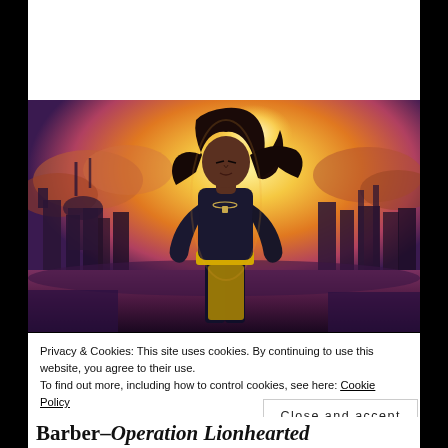[Figure (illustration): Fantasy book cover art showing a dark-skinned young woman in a black outfit with a yellow sash/belt, standing heroically against a dramatic orange and purple sky with burning ruins of a city in the background. Long dark hair flowing in the wind, wearing a necklace.]
Privacy & Cookies: This site uses cookies. By continuing to use this website, you agree to their use.
To find out more, including how to control cookies, see here: Cookie Policy
Close and accept
Barber–Operation Lionhearted